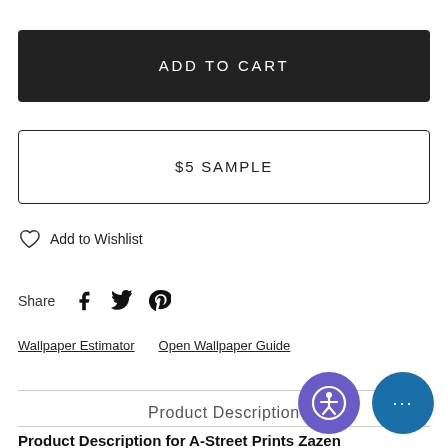ADD TO CART
$5 SAMPLE
Add to Wishlist
Share
Wallpaper Estimator   Open Wallpaper Guide
Product Description
Product Description for A-Street Prints Zazen